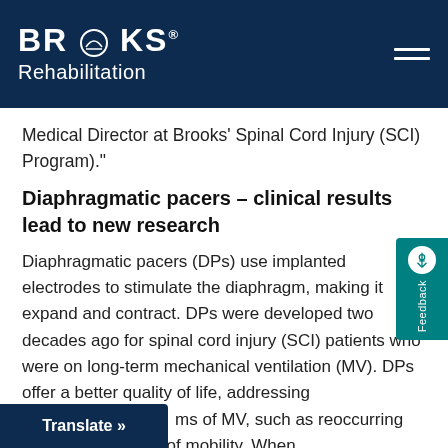Brooks Rehabilitation
Medical Director at Brooks' Spinal Cord Injury (SCI) Program)."
Diaphragmatic pacers – clinical results lead to new research
Diaphragmatic pacers (DPs) use implanted electrodes to stimulate the diaphragm, making it expand and contract. DPs were developed two decades ago for spinal cord injury (SCI) patients who were on long-term mechanical ventilation (MV). DPs offer a better quality of life, addressing problems of MV, such as reoccurring infections and lack of mobility. When